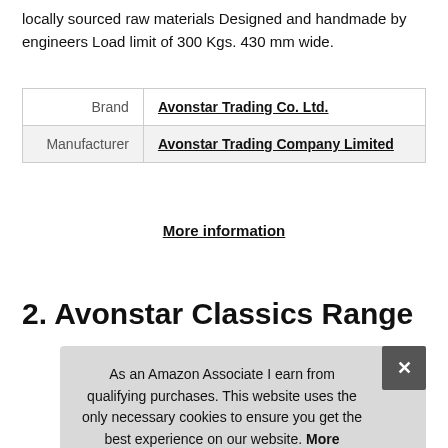locally sourced raw materials Designed and handmade by engineers Load limit of 300 Kgs. 430 mm wide.
| Brand | Avonstar Trading Co. Ltd. |
| Manufacturer | Avonstar Trading Company Limited |
More information
2. Avonstar Classics Range
As an Amazon Associate I earn from qualifying purchases. This website uses the only necessary cookies to ensure you get the best experience on our website. More information